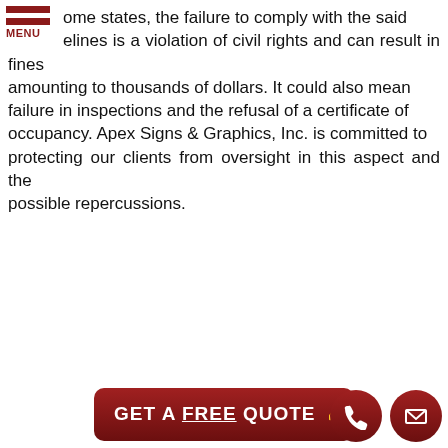[Figure (other): Navigation menu icon with two horizontal dark red bars and 'MENU' label below]
ome states, the failure to comply with the said elines is a violation of civil rights and can result in fines amounting to thousands of dollars. It could also mean failure in inspections and the refusal of a certificate of occupancy. Apex Signs & Graphics, Inc. is committed to protecting our clients from oversight in this aspect and the possible repercussions.
[Figure (other): Dark red rounded rectangle button with white bold text reading 'GET A FREE QUOTE' with a pointer/hand cursor icon]
Full-Service Sign Company
[Figure (other): Two circular dark red icon buttons at bottom right: a phone/handset icon and an envelope/mail icon]